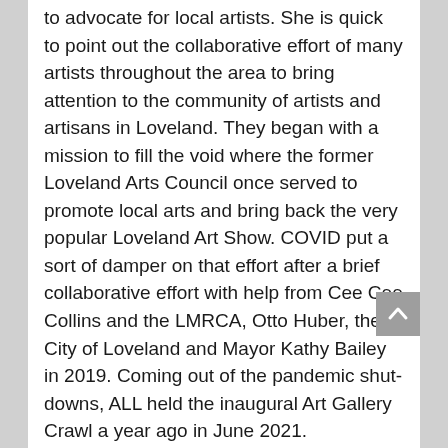to advocate for local artists. She is quick to point out the collaborative effort of many artists throughout the area to bring attention to the community of artists and artisans in Loveland. They began with a mission to fill the void where the former Loveland Arts Council once served to promote local arts and bring back the very popular Loveland Art Show. COVID put a sort of damper on that effort after a brief collaborative effort with help from Cee Cee Collins and the LMRCA, Otto Huber, the City of Loveland and Mayor Kathy Bailey in 2019. Coming out of the pandemic shut-downs, ALL held the inaugural Art Gallery Crawl a year ago in June 2021.